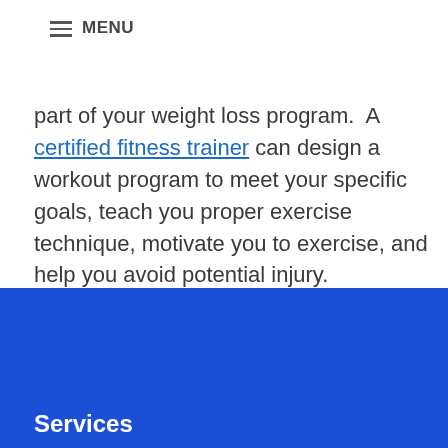MENU
part of your weight loss program.  A certified fitness trainer can design a workout program to meet your specific goals, teach you proper exercise technique, motivate you to exercise, and help you avoid potential injury.
Services